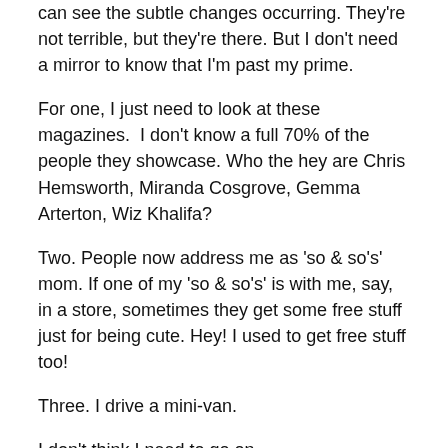can see the subtle changes occurring. They're not terrible, but they're there. But I don't need a mirror to know that I'm past my prime.
For one, I just need to look at these magazines.  I don't know a full 70% of the people they showcase. Who the hey are Chris Hemsworth, Miranda Cosgrove, Gemma Arterton, Wiz Khalifa?
Two. People now address me as 'so & so's' mom. If one of my 'so & so's' is with me, say, in a store, sometimes they get some free stuff just for being cute. Hey! I used to get free stuff too!
Three. I drive a mini-van.
I don't think I need to go on.
Now I'm not saying getting old is bad. It's a good thing.